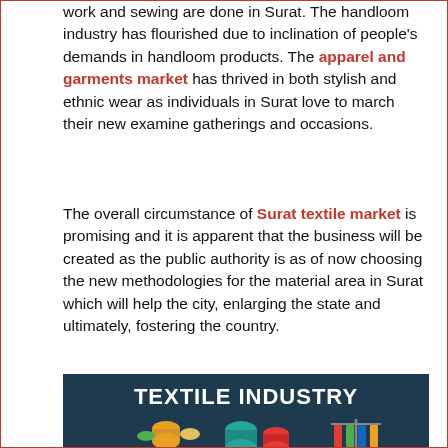work and sewing are done in Surat. The handloom industry has flourished due to inclination of people's demands in handloom products. The apparel and garments market has thrived in both stylish and ethnic wear as individuals in Surat love to march their new examine gatherings and occasions.
The overall circumstance of Surat textile market is promising and it is apparent that the business will be created as the public authority is as of now choosing the new methodologies for the material area in Surat which will help the city, enlarging the state and ultimately, fostering the country.
[Figure (illustration): Textile Industry infographic banner with dark blue background showing the text 'TEXTILE INDUSTRY' and colorful isometric illustrations of textile machinery, yarn spools, and fabric racks.]